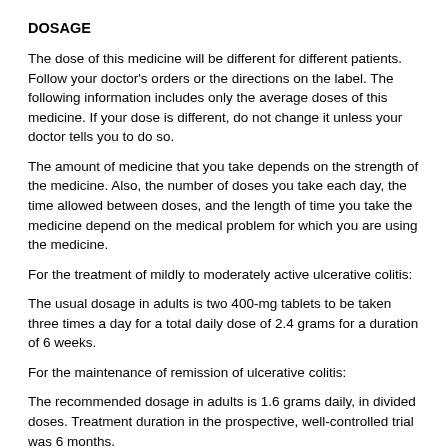DOSAGE
The dose of this medicine will be different for different patients. Follow your doctor's orders or the directions on the label. The following information includes only the average doses of this medicine. If your dose is different, do not change it unless your doctor tells you to do so.
The amount of medicine that you take depends on the strength of the medicine. Also, the number of doses you take each day, the time allowed between doses, and the length of time you take the medicine depend on the medical problem for which you are using the medicine.
For the treatment of mildly to moderately active ulcerative colitis:
The usual dosage in adults is two 400-mg tablets to be taken three times a day for a total daily dose of 2.4 grams for a duration of 6 weeks.
For the maintenance of remission of ulcerative colitis:
The recommended dosage in adults is 1.6 grams daily, in divided doses. Treatment duration in the prospective, well-controlled trial was 6 months.
Two Asacol (mesalamine delayed-release tablets) 400 mg tablets have not been shown to be bioequivalent to one Asacol® HD (mesalamine) delayed-release 800 mg tablet.